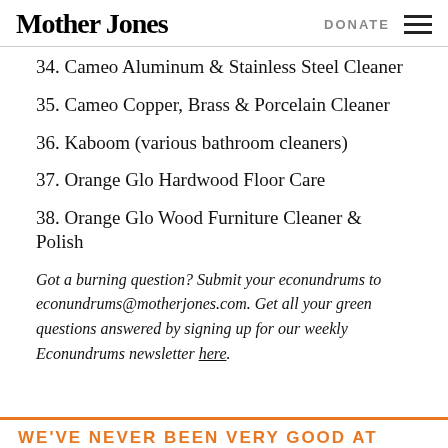Mother Jones | DONATE
34. Cameo Aluminum & Stainless Steel Cleaner
35. Cameo Copper, Brass & Porcelain Cleaner
36. Kaboom (various bathroom cleaners)
37. Orange Glo Hardwood Floor Care
38. Orange Glo Wood Furniture Cleaner & Polish
Got a burning question? Submit your econundrums to econundrums@motherjones.com. Get all your green questions answered by signing up for our weekly Econundrums newsletter here.
WE'VE NEVER BEEN VERY GOOD AT